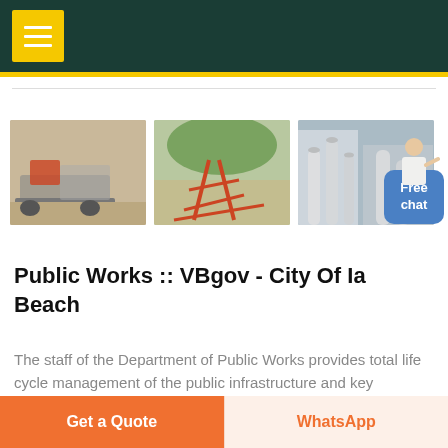≡ (navigation menu button)
[Figure (photo): Three side-by-side photos of construction/industrial equipment and machinery: (1) a crusher or excavator machine on dirt ground, (2) a scaffold or steel frame structure with orange supports, (3) industrial piping and tanks in a facility]
Public Works :: VBgov - City Of Ia Beach
The staff of the Department of Public Works provides total life cycle management of the public infrastructure and key essential services.
Get a Quote | WhatsApp